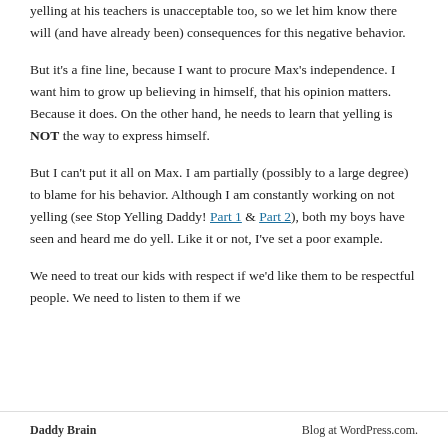yelling at his teachers is unacceptable too, so we let him know there will (and have already been) consequences for this negative behavior.
But it's a fine line, because I want to procure Max's independence. I want him to grow up believing in himself, that his opinion matters. Because it does. On the other hand, he needs to learn that yelling is NOT the way to express himself.
But I can't put it all on Max. I am partially (possibly to a large degree) to blame for his behavior. Although I am constantly working on not yelling (see Stop Yelling Daddy! Part 1 & Part 2), both my boys have seen and heard me do yell. Like it or not, I've set a poor example.
We need to treat our kids with respect if we'd like them to be respectful people. We need to listen to them if we
Daddy Brain    Blog at WordPress.com.